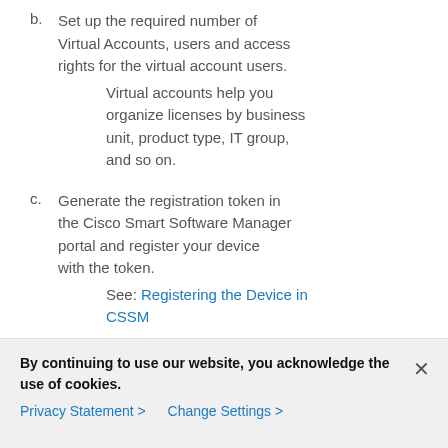b. Set up the required number of Virtual Accounts, users and access rights for the virtual account users. Virtual accounts help you organize licenses by business unit, product type, IT group, and so on.
c. Generate the registration token in the Cisco Smart Software Manager portal and register your device with the token. See: Registering the Device in CSSM
With this,
The device is now in an authorized state and
By continuing to use our website, you acknowledge the use of cookies.
Privacy Statement > Change Settings >